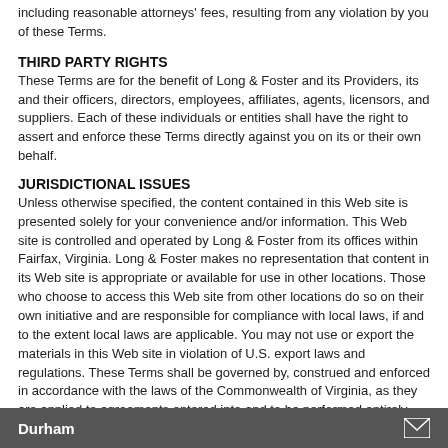including reasonable attorneys' fees, resulting from any violation by you of these Terms.
THIRD PARTY RIGHTS
These Terms are for the benefit of Long & Foster and its Providers, its and their officers, directors, employees, affiliates, agents, licensors, and suppliers. Each of these individuals or entities shall have the right to assert and enforce these Terms directly against you on its or their own behalf.
JURISDICTIONAL ISSUES
Unless otherwise specified, the content contained in this Web site is presented solely for your convenience and/or information. This Web site is controlled and operated by Long & Foster from its offices within Fairfax, Virginia. Long & Foster makes no representation that content in its Web site is appropriate or available for use in other locations. Those who choose to access this Web site from other locations do so on their own initiative and are responsible for compliance with local laws, if and to the extent local laws are applicable. You may not use or export the materials in this Web site in violation of U.S. export laws and regulations. These Terms shall be governed by, construed and enforced in accordance with the laws of the Commonwealth of Virginia, as they are applied to agreements entered into and to be performed entirely within such State. Any action you, any third party or Long & Foster brings to enforce these Terms, or in connection with any matters related to this Web site, shall be brought only in
Durham